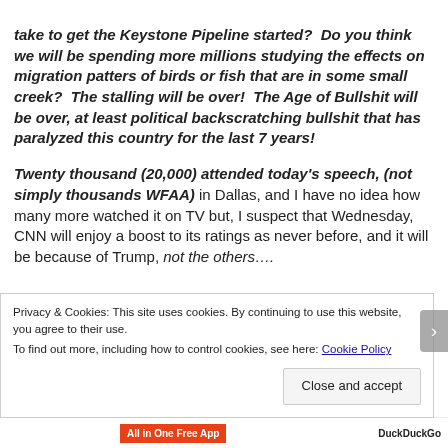take to get the Keystone Pipeline started?  Do you think we will be spending more millions studying the effects on migration patters of birds or fish that are in some small creek?  The stalling will be over!  The Age of Bullshit will be over, at least political backscratching bullshit that has paralyzed this country for the last 7 years!
Twenty thousand (20,000) attended today's speech, (not simply thousands WFAA) in Dallas, and I have no idea how many more watched it on TV but, I suspect that Wednesday, CNN will enjoy a boost to its ratings as never before, and it will be because of Trump, not the others....
Privacy & Cookies: This site uses cookies. By continuing to use this website, you agree to their use.
To find out more, including how to control cookies, see here: Cookie Policy
Close and accept
All in One Free App   DuckDuckGo